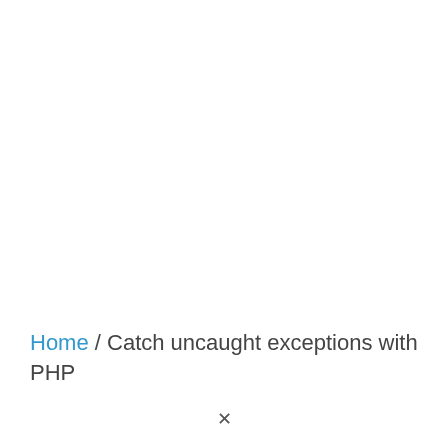Home / Catch uncaught exceptions with PHP